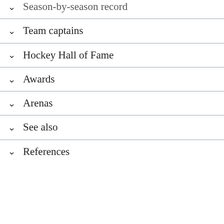Season-by-season record
Team captains
Hockey Hall of Fame
Awards
Arenas
See also
References